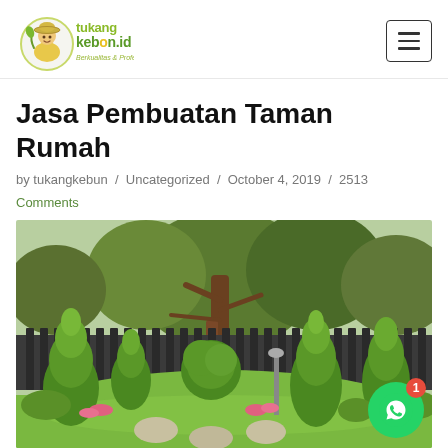[Figure (logo): tukangkebon.id logo with circular mascot character and text 'tukang kebon.id Berkualitas & Profesional']
Jasa Pembuatan Taman Rumah
by tukangkebun / Uncategorized / October 4, 2019 / 2513 Comments
[Figure (photo): A beautifully landscaped garden with trimmed conical topiary trees, a round ball-shaped topiary, large trees, green grass lawn with circular stepping stones, pink flowers, against a dark fence background]